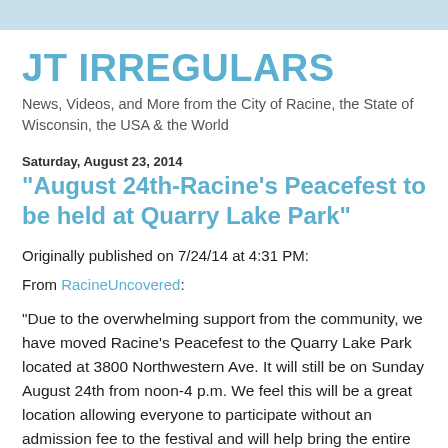JT IRREGULARS
News, Videos, and More from the City of Racine, the State of Wisconsin, the USA & the World
Saturday, August 23, 2014
"August 24th-Racine’s Peacefest to be held at Quarry Lake Park"
Originally published on 7/24/14 at 4:31 PM:
From RacineUncovered:
"Due to the overwhelming support from the community, we have moved Racine’s Peacefest to the Quarry Lake Park located at 3800 Northwestern Ave. It will still be on Sunday August 24th from noon-4 p.m. We feel this will be a great location allowing everyone to participate without an admission fee to the festival and will help bring the entire